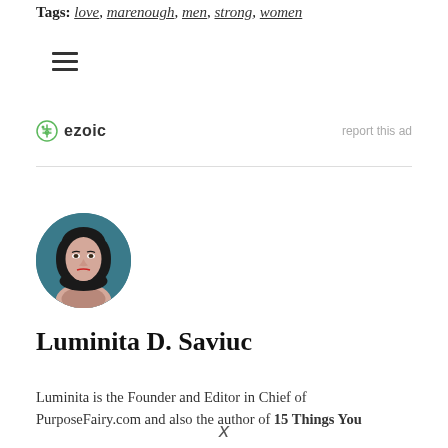Tags: love, marenough, men, strong, women
[Figure (other): Hamburger menu icon (three horizontal lines)]
[Figure (logo): Ezoic logo with green circular icon and bold text 'ezoic', with 'report this ad' link on the right]
[Figure (photo): Circular author photo of Luminita D. Saviuc, a woman with dark hair and red lipstick against a teal background]
Luminita D. Saviuc
Luminita is the Founder and Editor in Chief of PurposeFairy.com and also the author of 15 Things You